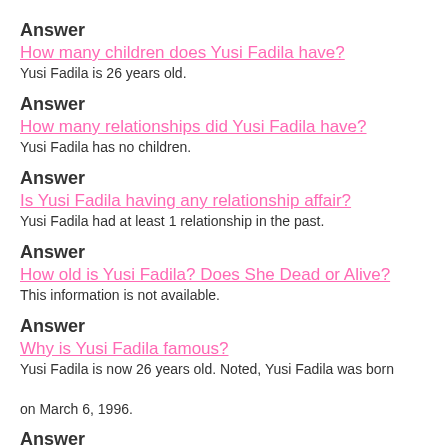Answer
How many children does Yusi Fadila have?
Yusi Fadila is 26 years old.
Answer
How many relationships did Yusi Fadila have?
Yusi Fadila has no children.
Answer
Is Yusi Fadila having any relationship affair?
Yusi Fadila had at least 1 relationship in the past.
Answer
How old is Yusi Fadila? Does She Dead or Alive?
This information is not available.
Answer
Why is Yusi Fadila famous?
Yusi Fadila is now 26 years old. Noted, Yusi Fadila was born on March 6, 1996.
Answer
Is Yusi Fadila Married?
Yusi Fadila become popular for being a successful Instagram Star.